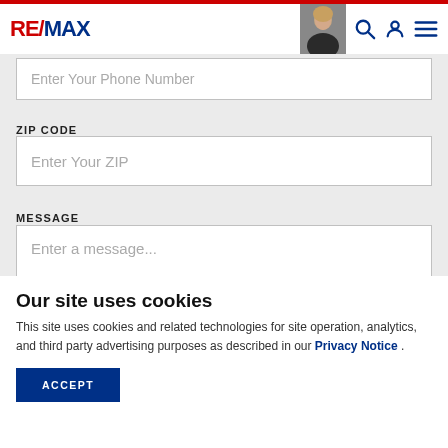RE/MAX header with logo, agent photo, search icon, account icon, menu icon
Enter Your Phone Number
ZIP CODE
Enter Your ZIP
MESSAGE
Enter a message...
Our site uses cookies
This site uses cookies and related technologies for site operation, analytics, and third party advertising purposes as described in our Privacy Notice .
ACCEPT